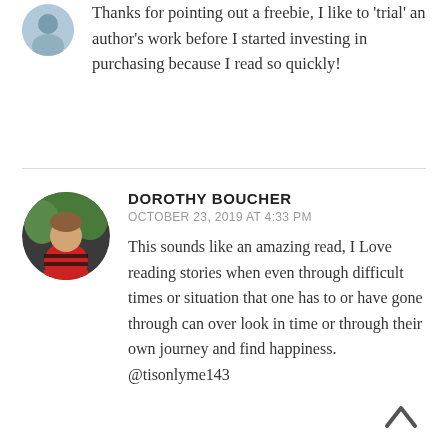Thanks for pointing out a freebie, I like to 'trial' an author's work before I started investing in purchasing because I read so quickly!
DOROTHY BOUCHER
OCTOBER 23, 2019 AT 4:33 PM
This sounds like an amazing read, I Love reading stories when even through difficult times or situation that one has to or have gone through can over look in time or through their own journey and find happiness. @tisonlyme143